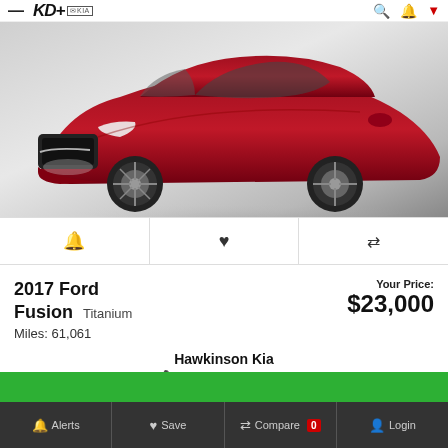≡ KD+ @KIA | 🔍 🔔 ▼
[Figure (photo): Red 2017 Ford Fusion Titanium sedan photographed from front three-quarter angle on grey gradient background]
🔔 ♥ ⇄
2017 Ford Fusion Titanium
Your Price: $23,000
Miles: 61,061
Hawkinson Kia
855-247-9084
🔔 Alerts  ♥ Save  ⇄ Compare 0  👤 Login